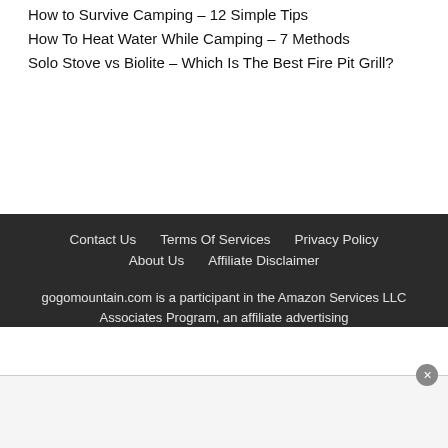How to Survive Camping – 12 Simple Tips
How To Heat Water While Camping – 7 Methods
Solo Stove vs Biolite – Which Is The Best Fire Pit Grill?
Contact Us   Terms Of Services   Privacy Policy   About Us   Affiliate Disclaimer
gogomountain.com is a participant in the Amazon Services LLC Associates Program, an affiliate advertising